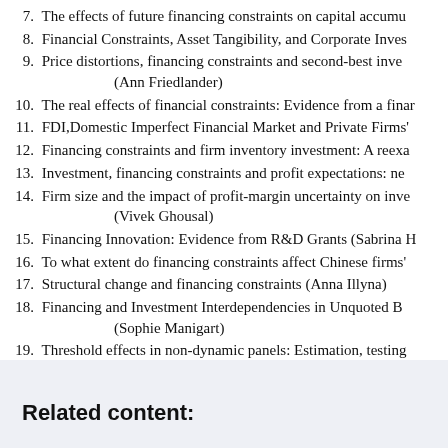7. The effects of future financing constraints on capital accumu
8. Financial Constraints, Asset Tangibility, and Corporate Inves
9. Price distortions, financing constraints and second-best inve
        (Ann Friedlander)
10. The real effects of financial constraints: Evidence from a finar
11. FDI,Domestic Imperfect Financial Market and Private Firms'
12. Financing constraints and firm inventory investment: A reexa
13. Investment, financing constraints and profit expectations: ne
14. Firm size and the impact of profit-margin uncertainty on inve
        (Vivek Ghousal)
15. Financing Innovation: Evidence from R&D Grants (Sabrina H
16. To what extent do financing constraints affect Chinese firms'
17. Structural change and financing constraints (Anna Illyna)
18. Financing and Investment Interdependencies in Unquoted B
        (Sophie Manigart)
19. Threshold effects in non-dynamic panels: Estimation, testing
20. New Evidence on Measuring Financial Constraints: Moving B
Related content: